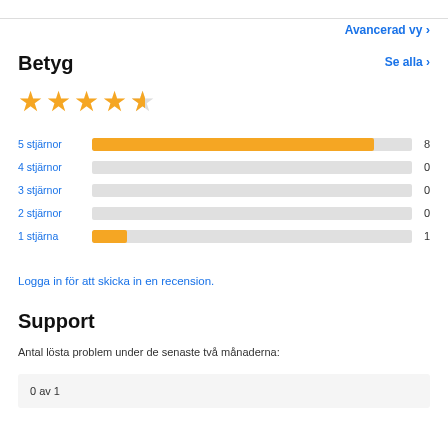Avancerad vy
Betyg
Se alla >
[Figure (other): 4.5 out of 5 stars rating display]
[Figure (bar-chart): Rating distribution]
Logga in för att skicka in en recension.
Support
Antal lösta problem under de senaste två månaderna:
0 av 1